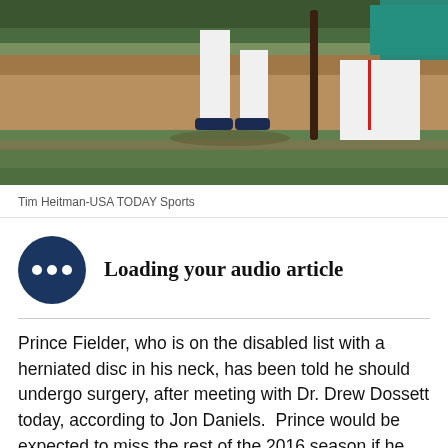[Figure (photo): Baseball player kneeling on field, visible from waist down, wearing white uniform with dark cleats, bat on ground nearby, dugout in background]
Tim Heitman-USA TODAY Sports
Loading your audio article
Prince Fielder, who is on the disabled list with a herniated disc in his neck, has been told he should undergo surgery, after meeting with Dr. Drew Dossett today, according to Jon Daniels.  Prince would be expected to miss the rest of the 2016 season if he has surgery.